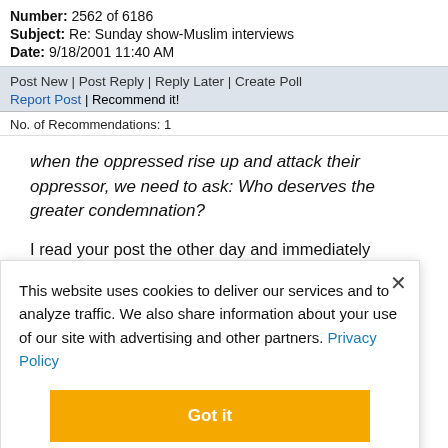Number: 2562 of 6186
Subject: Re: Sunday show-Muslim interviews
Date: 9/18/2001 11:40 AM
Post New | Post Reply | Reply Later | Create Poll
Report Post | Recommend it!
No. of Recommendations: 1
when the oppressed rise up and attack their oppressor, we need to ask: Who deserves the greater condemnation?
I read your post the other day and immediately wanted to reply. But I decided to wait a bit while I calmed down.
I AM AN AMERICAN and proud of it. My country is
This website uses cookies to deliver our services and to analyze traffic. We also share information about your use of our site with advertising and other partners. Privacy Policy
Got it
Cookie Settings